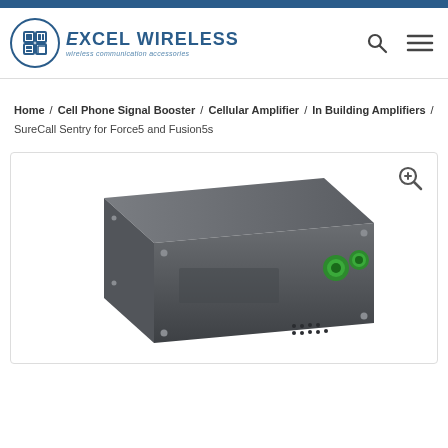Excel Wireless — wireless communication accessories
Home / Cell Phone Signal Booster / Cellular Amplifier / In Building Amplifiers / SureCall Sentry for Force5 and Fusion5s
[Figure (photo): SureCall Sentry device — a dark gray rectangular electronic box with green connectors on the right side and ventilation holes, photographed at an angle against a white background. A magnifying glass zoom icon appears in the top-right corner of the image frame.]